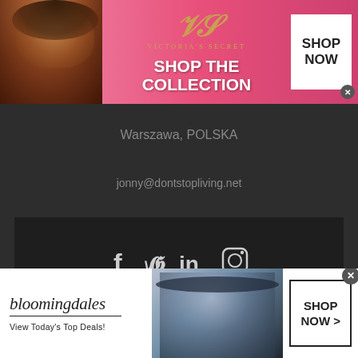[Figure (screenshot): Victoria's Secret advertisement banner with pink background, model photo, VS logo, 'SHOP THE COLLECTION' text, and 'SHOP NOW' button]
Warszawa, POLSKA
jonny@dontstopliving.net
[Figure (screenshot): Social media icons: Facebook, Twitter, LinkedIn, Instagram on dark background]
All content is copyright Jonny Scott Blair 1980 - 2022
[Figure (screenshot): Bloomingdale's advertisement banner with 'View Today's Top Deals!' text and 'SHOP NOW >' button]